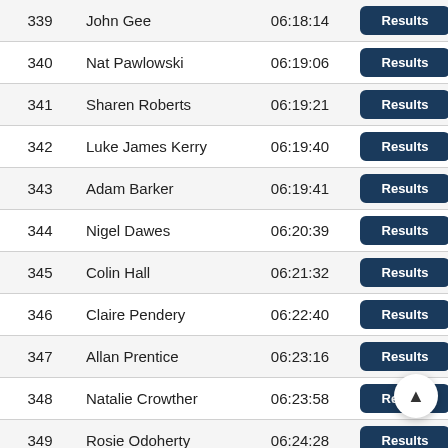| # | Name | Time |  |
| --- | --- | --- | --- |
| 339 | John Gee | 06:18:14 | Results |
| 340 | Nat Pawlowski | 06:19:06 | Results |
| 341 | Sharen Roberts | 06:19:21 | Results |
| 342 | Luke James Kerry | 06:19:40 | Results |
| 343 | Adam Barker | 06:19:41 | Results |
| 344 | Nigel Dawes | 06:20:39 | Results |
| 345 | Colin Hall | 06:21:32 | Results |
| 346 | Claire Pendery | 06:22:40 | Results |
| 347 | Allan Prentice | 06:23:16 | Results |
| 348 | Natalie Crowther | 06:23:58 | Results |
| 349 | Rosie Odoherty | 06:24:28 | Results |
| 350 | Michael Brennand | 06:24:29 | Results |
| 351 | Kenneth Coates | 06:24:40 | Re… |
| 352 | Sarah Whibley | 06:24:47 | Results |